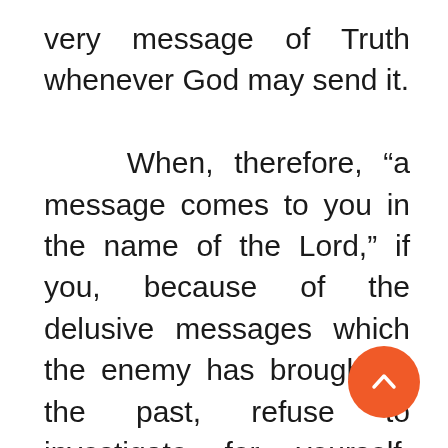very message of Truth whenever God may send it.

When, therefore, “a message comes to you in the name of the Lord,” if you, because of the delusive messages which the enemy has brought in the past, refuse to investigate for yourself, saying, “There is no use, it is simply another ‘off shoot’; I know it cannot be the truth”; then, whether it be the Rod or some other publication which contains the message, certain it is that sooner or later, you will reject the very message you need to save you from